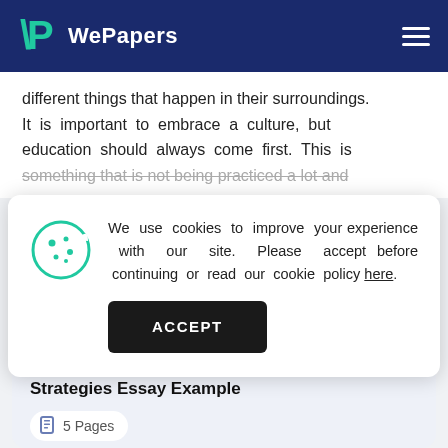WePapers
different things that happen in their surroundings. It is important to embrace a culture, but education should always come first. This is something that is not being practiced a lot and
We use cookies to improve your experience with our site. Please accept before continuing or read our cookie policy here.
ACCEPT
Good Team-Building Techniques AND Strategies Essay Example
5 Pages